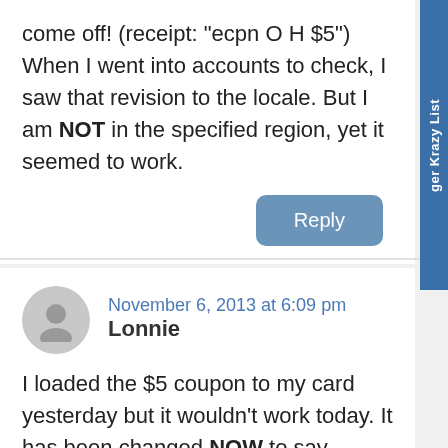come off! (receipt: "ecpn O H $5") When I went into accounts to check, I saw that revision to the locale. But I am NOT in the specified region, yet it seemed to work.
Reply
Lonnie    November 6, 2013 at 6:09 pm
I loaded the $5 coupon to my card yesterday but it wouldn't work today. It has been changed NOW to say Dayton & Cincinnati area only. I called the customer service 800 number and reported what